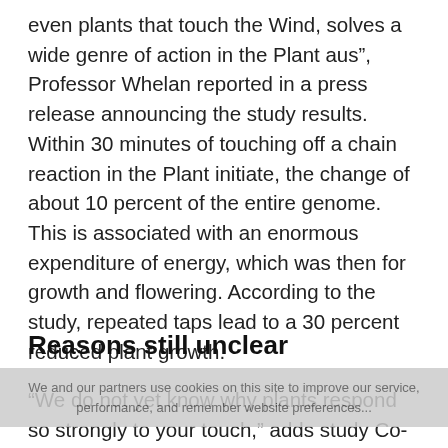even plants that touch the Wind, solves a wide genre of action in the Plant aus", Professor Whelan reported in a press release announcing the study results. Within 30 minutes of touching off a chain reaction in the Plant initiate, the change of about 10 percent of the entire genome. This is associated with an enormous expenditure of energy, which was then for growth and flowering. According to the study, repeated taps lead to a 30 percent reduced plant growth.
Reasons still unclear
We and our partners use cookies on this site to improve our service, performance, and remember website preferences...
“We do not yet know why plants respond so strongly to your touch,” adds study Co-author Dr. Yan Wang. The researchers hold the strong reaction to a genetic